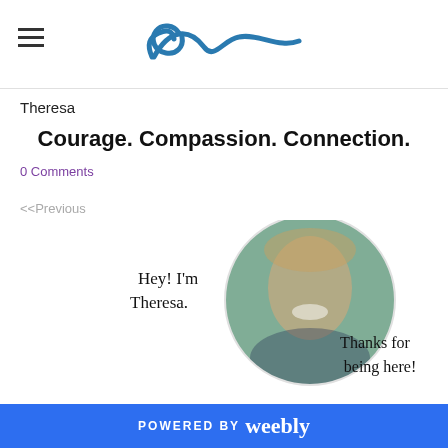Navigation header with hamburger menu and wave logo
Theresa
Courage. Compassion. Connection.
0 Comments
<<Previous
[Figure (photo): Circular portrait photo of Theresa smiling, with handwritten text overlay reading 'Hey! I'm Theresa.' and 'Thanks for being here!']
POWERED BY weebly